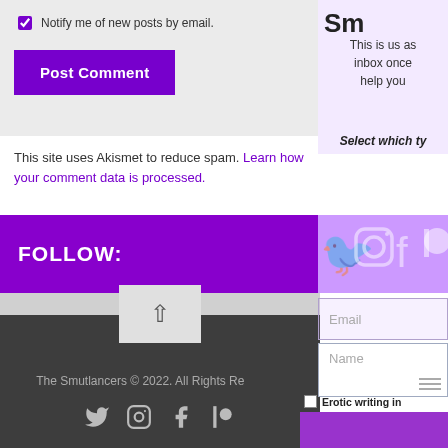☑ Notify me of new posts by email.
Post Comment
This site uses Akismet to reduce spam. Learn how your comment data is processed.
FOLLOW:
The Smutlancers © 2022. All Rights Reserved.
Sm
This is us as inbox once help you
Select which ty
Email
Name
Erotic writing in
Sex blogging/re
Freelance info
Send me everyt